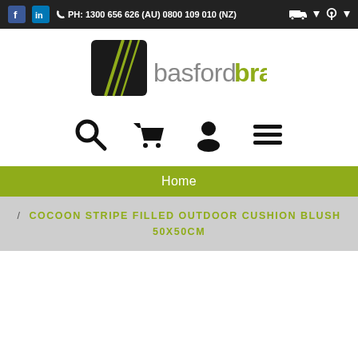PH: 1300 656 626 (AU) 0800 109 010 (NZ)
[Figure (logo): Basford Brands logo — black square with diagonal green lines on left, 'basfordbrands' text with 'basford' in grey and 'brands' in green on right]
[Figure (infographic): Navigation icons row: search magnifying glass, shopping cart, user/account icon, hamburger menu icon]
Home
/ COCOON STRIPE FILLED OUTDOOR CUSHION BLUSH 50X50CM